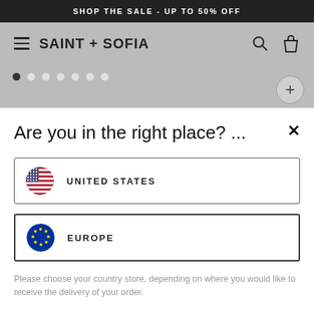SHOP THE SALE - UP TO 50% OFF
[Figure (screenshot): Saint + Sofia navigation bar with hamburger menu, brand name, search and cart icons on a gray background]
[Figure (screenshot): Gray area with pagination dots and a circular plus button]
Are you in the right place? ...
UNITED STATES
EUROPE
Please choose your country store, depending on where you would like to receive the delivery of your order.